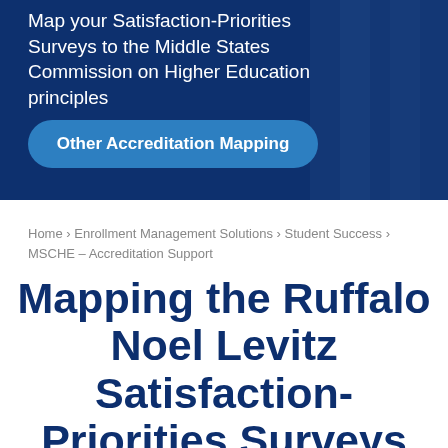Map your Satisfaction-Priorities Surveys to the Middle States Commission on Higher Education principles
[Figure (other): Blue rounded button labeled 'Other Accreditation Mapping' on dark navy background hero banner]
Home › Enrollment Management Solutions › Student Success › MSCHE – Accreditation Support
Mapping the Ruffalo Noel Levitz Satisfaction-Priorities Surveys to